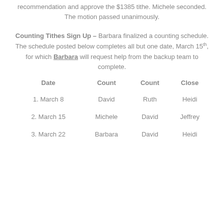recommendation and approve the $1385 tithe. Michele seconded. The motion passed unanimously.
Counting Tithes Sign Up – Barbara finalized a counting schedule. The schedule posted below completes all but one date, March 15th, for which Barbara will request help from the backup team to complete.
| Date | Count | Count | Close |
| --- | --- | --- | --- |
| 1. March 8 | David | Ruth | Heidi |
| 2. March 15 | Michele | David | Jeffrey |
| 3. March 22 | Barbara | David | Heidi |